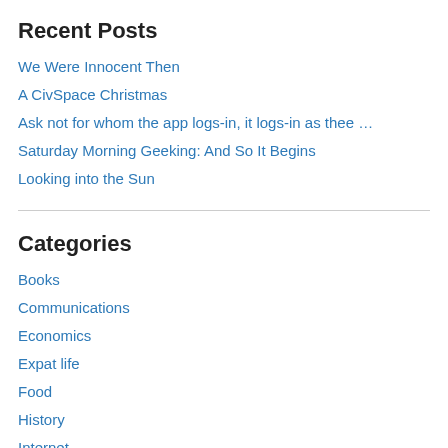Recent Posts
We Were Innocent Then
A CivSpace Christmas
Ask not for whom the app logs-in, it logs-in as thee …
Saturday Morning Geeking: And So It Begins
Looking into the Sun
Categories
Books
Communications
Economics
Expat life
Food
History
Internet
Pictures
Polls